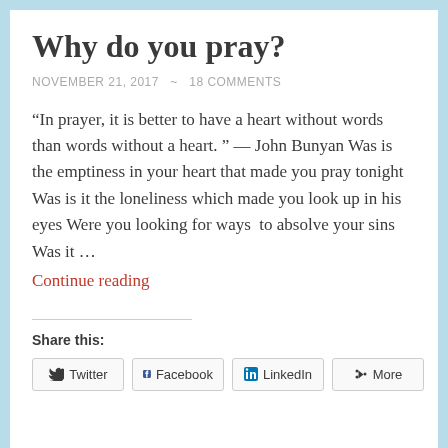Why do you pray?
NOVEMBER 21, 2017  ~  18 COMMENTS
"In prayer, it is better to have a heart without words than words without a heart. " — John Bunyan Was is the emptiness in your heart that made you pray tonight Was is it the loneliness which made you look up in his eyes Were you looking for ways  to absolve your sins Was it …
Continue reading
Share this:
Twitter  Facebook  LinkedIn  More